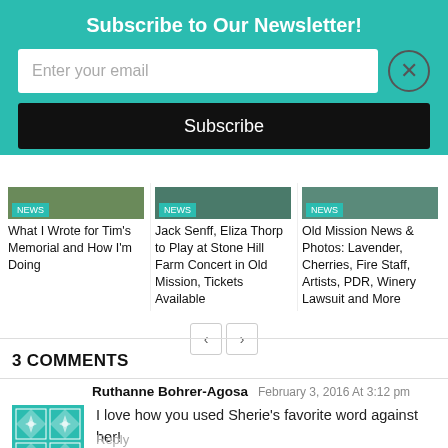Subscribe to Our Newsletter!
Enter your email
Subscribe
What I Wrote for Tim's Memorial and How I'm Doing
Jack Senff, Eliza Thorp to Play at Stone Hill Farm Concert in Old Mission, Tickets Available
Old Mission News & Photos: Lavender, Cherries, Fire Staff, Artists, PDR, Winery Lawsuit and More
3 COMMENTS
Ruthanne Bohrer-Agosa  February 3, 2016 At 3:12 pm
I love how you used Sherie's favorite word against her!
Reply